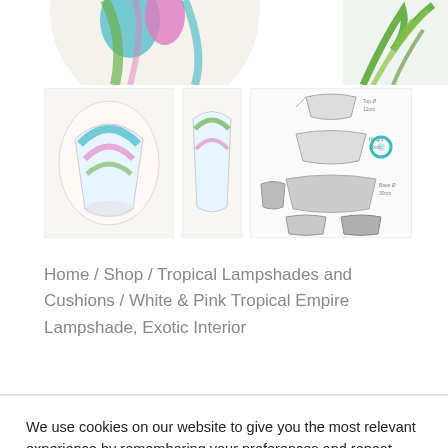[Figure (photo): Tropical lampshade product images: main product photo and thumbnail images including a sizing diagram]
Home / Shop / Tropical Lampshades and Cushions / White & Pink Tropical Empire Lampshade, Exotic Interior
We use cookies on our website to give you the most relevant experience by remembering your preferences and repeat visits. By clicking "Accept All", you consent to the use of ALL the cookies. However, you may visit "Cookie Settings" to provide a controlled consent.